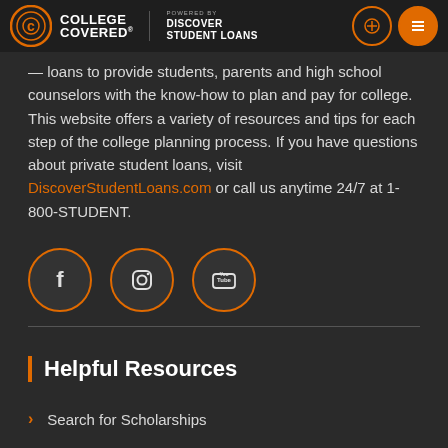College Covered powered by Discover Student Loans
loans to provide students, parents and high school counselors with the know-how to plan and pay for college. This website offers a variety of resources and tips for each step of the college planning process. If you have questions about private student loans, visit DiscoverStudentLoans.com or call us anytime 24/7 at 1-800-STUDENT.
[Figure (illustration): Three social media icons in orange circles: Facebook, Instagram, YouTube]
Helpful Resources
Search for Scholarships